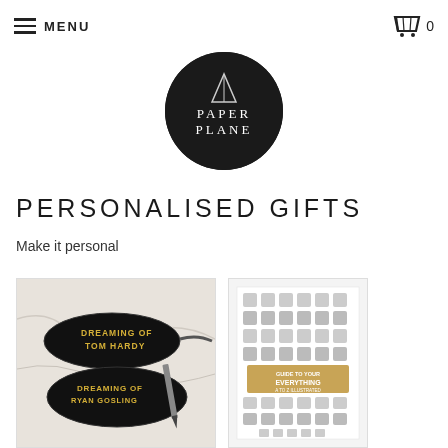MENU  0
[Figure (logo): Paper Plane circular black logo with paper plane triangle illustration and stylized text PAPER PLANE]
PERSONALISED GIFTS
Make it personal
[Figure (photo): Two black sleep eye masks with gold text reading DREAMING OF TOM HARDY and DREAMING OF RYAN GOSLING on a marble background]
[Figure (photo): A grey illustrated poster showing various objects arranged in a grid, with a gold/tan banner in the center]